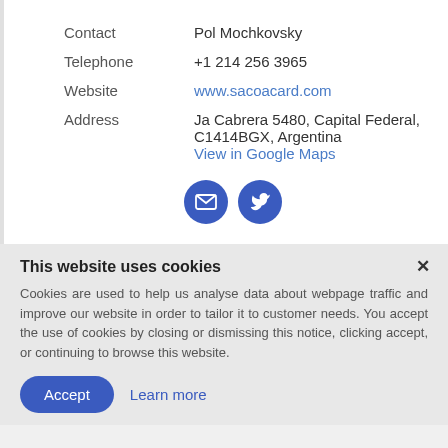| Contact | Pol Mochkovsky |
| Telephone | +1 214 256 3965 |
| Website | www.sacoacard.com |
| Address | Ja Cabrera 5480, Capital Federal, C1414BGX, Argentina
View in Google Maps |
[Figure (other): Two circular social media icon buttons: an envelope (email) icon and a Twitter bird icon, both on blue circles]
This website uses cookies
Cookies are used to help us analyse data about webpage traffic and improve our website in order to tailor it to customer needs. You accept the use of cookies by closing or dismissing this notice, clicking accept, or continuing to browse this website.
Accept   Learn more